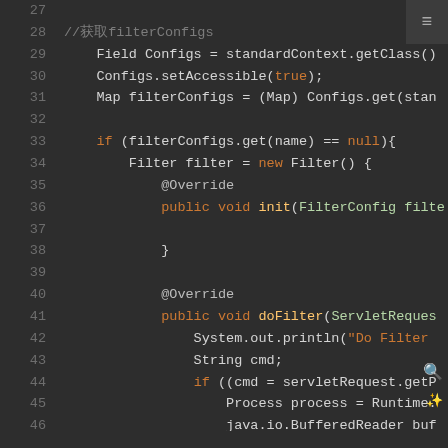[Figure (screenshot): Java source code editor screenshot showing lines 27-46 of a Java file. Dark theme IDE (dark gray background). Lines show Java code for accessing filterConfigs via reflection, creating an anonymous Filter class with @Override annotations for init and doFilter methods, and beginning of doFilter implementation with System.out.println, String cmd, and servletRequest.getParameter calls.]